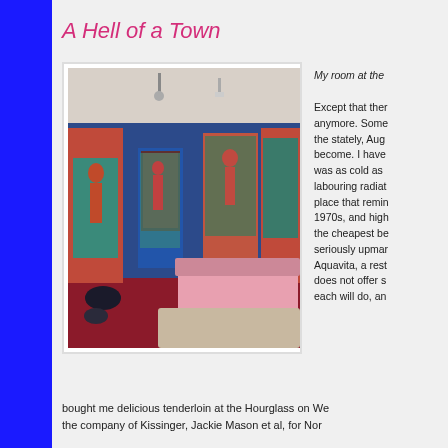A Hell of a Town
[Figure (photo): A hotel room with blue walls covered in colorful painted murals depicting figures in red and teal. Two single beds visible, red carpet floor, a door in the center.]
My room at the
Except that ther anymore. Some the stately, Aug become. I have was as cold as labouring radiat place that remin 1970s, and high the cheapest be seriously upmar Aquavita, a rest does not offer s each will do, an
bought me delicious tenderloin at the Hourglass on We the company of Kissinger, Jackie Mason et al, for Nor